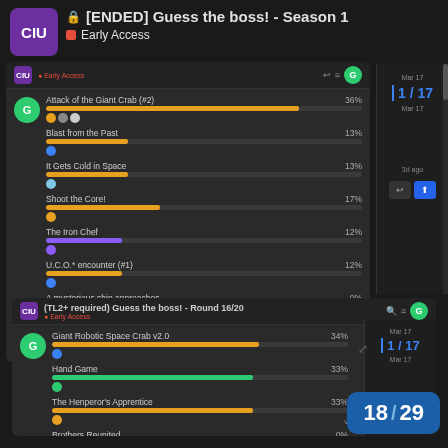[ENDED] Guess the boss! - Season 1
Early Access
[Figure (screenshot): Poll results panel for 'Guess the boss!' showing options: Attack of the Giant Crab (#2) 36%, Blast from the Past 13%, It Gets Cold in Space 13%, Shoot the Core! 17%, The Iron Chef 12%, U.C.O.* encounter (#1) 12%, A mysterious ship approaches... 0%, Another U.C.O. sighting! (#2) 0%, Chicken Multiplicity 0%. Sidebar shows Mar 17, 1/17, Mar 17. Action buttons shown.]
[Figure (screenshot): Second poll panel '(TL2+ required) Guess the boss! - Round 16/20' showing: Giant Robotic Space Crab v2.0 34%, Hand Game 33%, The Henperor's Apprentice 33%, Brothers Reunited 0%, Chicken Exponentiality 0%. Shows 3 voters. Navigation shows 18/29.]